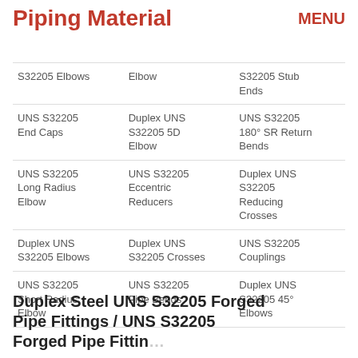MENU
Piping Material
| S32205 Elbows | Elbow | S32205 Stub Ends |
| UNS S32205 End Caps | Duplex UNS S32205 5D Elbow | UNS S32205 180° SR Return Bends |
| UNS S32205 Long Radius Elbow | UNS S32205 Eccentric Reducers | Duplex UNS S32205 Reducing Crosses |
| Duplex UNS S32205 Elbows | Duplex UNS S32205 Crosses | UNS S32205 Couplings |
| UNS S32205 Short Radius Elbow | UNS S32205 Pipe Bends | Duplex UNS S32205 45° Elbows |
Duplex Steel UNS S32205 Forged Pipe Fittings / UNS S32205 Forged Pipe Fittings